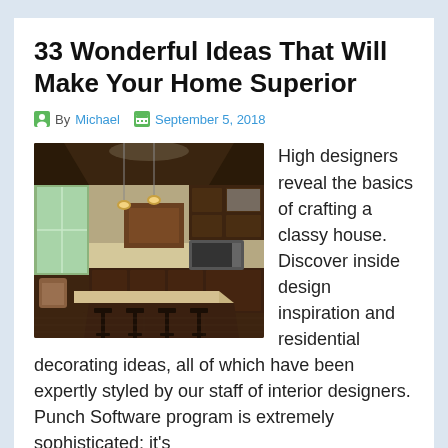33 Wonderful Ideas That Will Make Your Home Superior
By Michael   September 5, 2018
[Figure (photo): Luxury kitchen interior with dark wood cabinetry, large island with marble countertop, bar stools, and hardwood floors. Pendant lights hang from an octagonal tray ceiling. Large windows with views of greenery in the background.]
High designers reveal the basics of crafting a classy house. Discover inside design inspiration and residential decorating ideas, all of which have been expertly styled by our staff of interior designers. Punch Software program is extremely sophisticated; it's